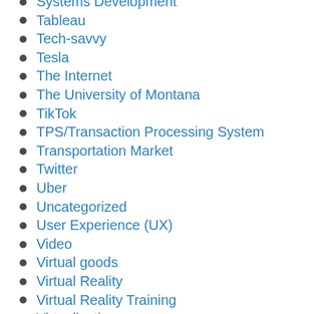Systems Development
Tableau
Tech-savvy
Tesla
The Internet
The University of Montana
TikTok
TPS/Transaction Processing System
Transportation Market
Twitter
Uber
Uncategorized
User Experience (UX)
Video
Virtual goods
Virtual Reality
Virtual Reality Training
Virtualization
Wearable Technology
Web 2.0
Web 3.0
Wi-Fi
Wiki